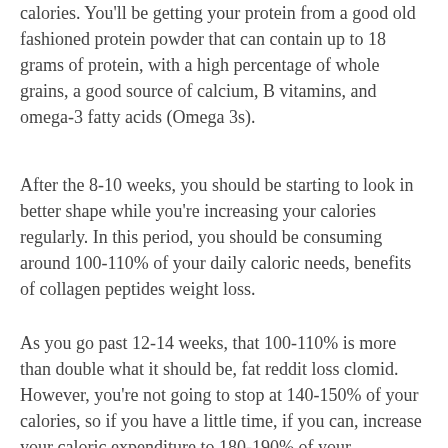calories. You'll be getting your protein from a good old fashioned protein powder that can contain up to 18 grams of protein, with a high percentage of whole grains, a good source of calcium, B vitamins, and omega-3 fatty acids (Omega 3s).
After the 8-10 weeks, you should be starting to look in better shape while you're increasing your calories regularly. In this period, you should be consuming around 100-110% of your daily caloric needs, benefits of collagen peptides weight loss.
As you go past 12-14 weeks, that 100-110% is more than double what it should be, fat reddit loss clomid. However, you're not going to stop at 140-150% of your calories, so if you have a little time, if you can, increase your caloric expenditure to 180-190% of your